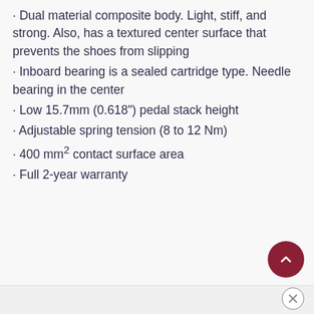Dual material composite body. Light, stiff, and strong. Also, has a textured center surface that prevents the shoes from slipping
Inboard bearing is a sealed cartridge type. Needle bearing in the center
Low 15.7mm (0.618") pedal stack height
Adjustable spring tension (8 to 12 Nm)
400 mm² contact surface area
Full 2-year warranty